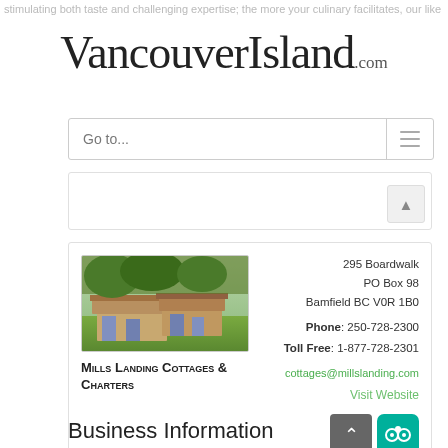VancouverIsland.com
Go to...
[Figure (photo): Photo of Mills Landing Cottages & Charters, showing wooden cottage buildings with red trim surrounded by greenery]
295 Boardwalk
PO Box 98
Bamfield BC V0R 1B0
Phone: 250-728-2300
Toll Free: 1-877-728-2301
cottages@millslanding.com
Visit Website
Mills Landing Cottages & Charters
Business Information